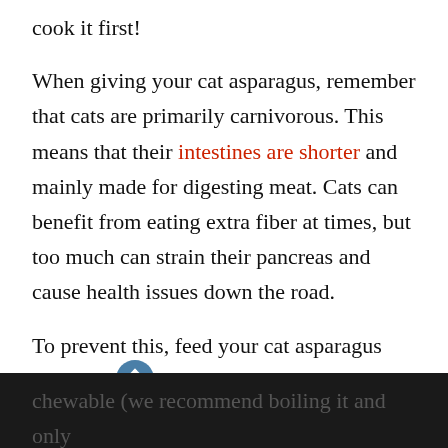cook it first!
When giving your cat asparagus, remember that cats are primarily carnivorous. This means that their intestines are shorter and mainly made for digesting meat. Cats can benefit from eating extra fiber at times, but too much can strain their pancreas and cause health issues down the road.
To prevent this, feed your cat asparagus sparingly and in small chunks. Make sure it’s fully cooked to reduce the amount of alkaline and make it more
chewable (we recommend boiling it and only feeding your cat the tips of the asparagus). Do not